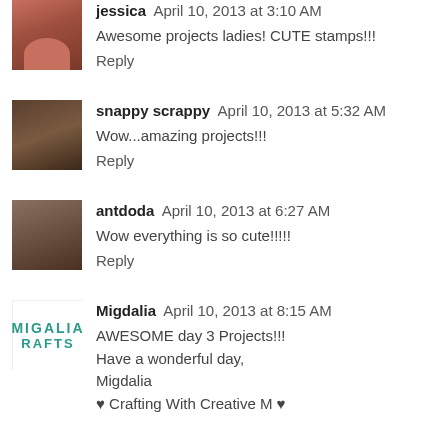jessica April 10, 2013 at 3:10 AM
Awesome projects ladies! CUTE stamps!!!
Reply
snappy scrappy April 10, 2013 at 5:32 AM
Wow...amazing projects!!!
Reply
antdoda April 10, 2013 at 6:27 AM
Wow everything is so cute!!!!!
Reply
Migdalia April 10, 2013 at 8:15 AM
AWESOME day 3 Projects!!!
Have a wonderful day,
Migdalia
♥ Crafting With Creative M ♥